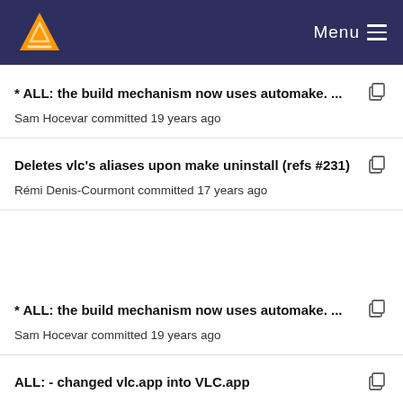Menu
* ALL: the build mechanism now uses automake. ...
Sam Hocevar committed 19 years ago
Deletes vlc's aliases upon make uninstall (refs #231)
Rémi Denis-Courmont committed 17 years ago
* ALL: the build mechanism now uses automake. ...
Sam Hocevar committed 19 years ago
ALL: - changed vlc.app into VLC.app
hartman committed 19 years ago
* ALL: the build mechanism now uses automake. ...
Sam Hocevar committed 19 years ago
Add a new target, VLC.app which make links to fil...